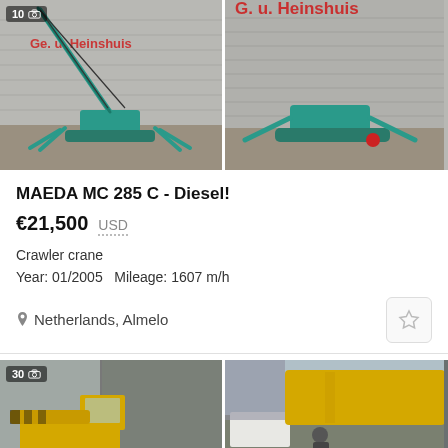[Figure (photo): Two photos of a MAEDA MC 285 C mini crawler crane, teal/green color, shown in front of a warehouse. Left photo shows crane with boom extended upward, badge shows 10 photos. Right photo shows crane from front/side angle.]
MAEDA MC 285 C - Diesel!
€21,500  USD
Crawler crane
Year: 01/2005   Mileage: 1607 m/h
Netherlands, Almelo
[Figure (photo): Two photos of a yellow articulating crane/telehandler, shown in a yard. Left photo shows the machine from side with cab and yellow boom, badge shows 30 photos. Right photo shows the boom and operator area from a different angle.]